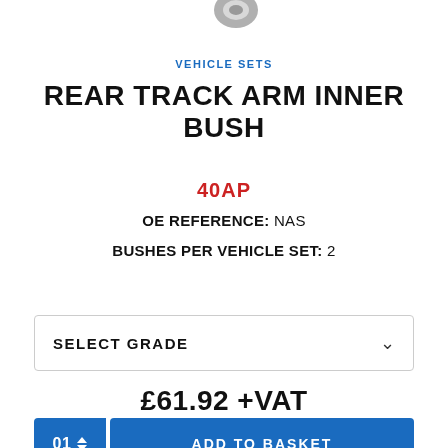[Figure (photo): Partial product photo of a rubber bush component, cropped at top of page]
VEHICLE SETS
REAR TRACK ARM INNER BUSH
40AP
OE REFERENCE: NAS
BUSHES PER VEHICLE SET: 2
SELECT GRADE
£61.92 +VAT
01
ADD TO BASKET